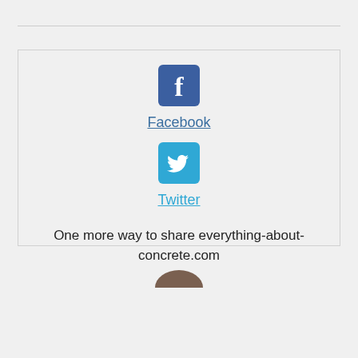[Figure (logo): Facebook logo icon - blue rounded square with white 'f']
Facebook
[Figure (logo): Twitter logo icon - cyan/blue rounded square with white bird]
Twitter
One more way to share everything-about-concrete.com
[Figure (photo): Partial circular image visible at bottom of page]